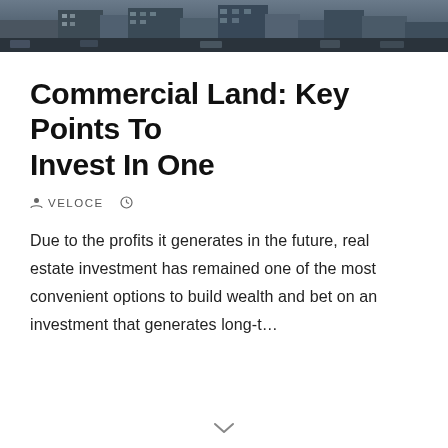[Figure (photo): Aerial view of commercial buildings and parking lots, dark tones]
Commercial Land: Key Points To Invest In One
VELOCE  ⊙
Due to the profits it generates in the future, real estate investment has remained one of the most convenient options to build wealth and bet on an investment that generates long-t…